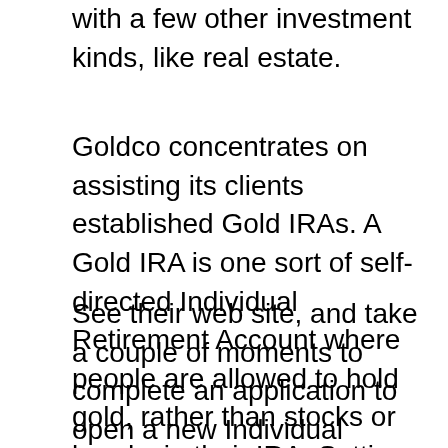with a few other investment kinds, like real estate.
Goldco concentrates on assisting its clients established Gold IRAs. A Gold IRA is one sort of self-directed Individual Retirement Account where people are allowed to hold gold, rather than stocks or bonds, in their IRA. Setting up a self-directed IRA with Goldco is simple.
See their web site, and take a couple of moments to complete an application to open a new Individual Retirement Account. You'll after that select just how you intend to money your IRA, as well as transfer cash to the brand-new account. Once the money has been obtained by Goldco, you can choos...